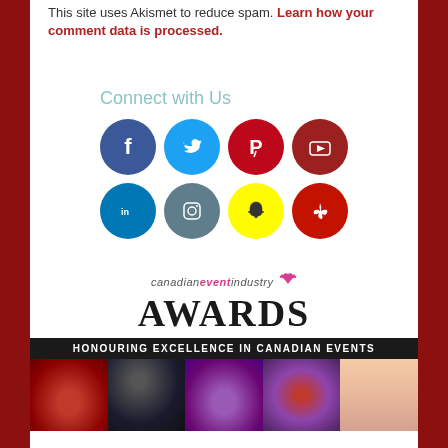This site uses Akismet to reduce spam. Learn how your comment data is processed.
Connect with Us
[Figure (infographic): Social media icon buttons in two rows: Facebook (blue), Twitter (light blue), Pinterest (red), YouTube (dark red); LinkedIn (blue), Instagram (gray-blue), Snapchat (yellow), Yelp (red)]
[Figure (logo): Canadian Event Industry Awards logo with tagline HONOURING EXCELLENCE IN CANADIAN EVENTS and a strip of five event photos below]
HONOURING EXCELLENCE IN CANADIAN EVENTS